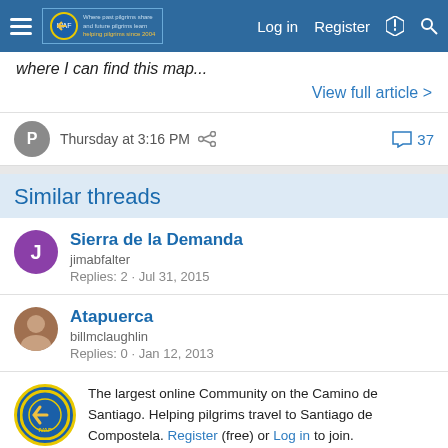Where past pilgrims share and future pilgrims learn. Helping pilgrims since 2004. Log in  Register
where I can find this map...
View full article >
Thursday at 3:16 PM  37
Similar threads
Sierra de la Demanda
jimabfalter
Replies: 2 · Jul 31, 2015
Atapuerca
billmclaughlin
Replies: 0 · Jan 12, 2013
The largest online Community on the Camino de Santiago. Helping pilgrims travel to Santiago de Compostela. Register (free) or Log in to join.